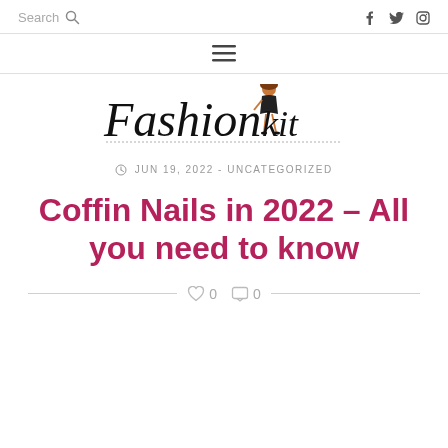Search  f  y
[Figure (logo): Fashion Kit blog logo with stylized script text and illustrated fashion figure]
JUN 19, 2022 - UNCATEGORIZED
Coffin Nails in 2022 – All you need to know
0  0